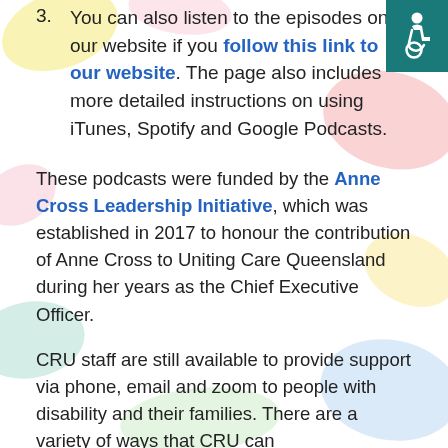3. You can also listen to the episodes on our website if you follow this link to our website. The page also includes more detailed instructions on using iTunes, Spotify and Google Podcasts.
These podcasts were funded by the Anne Cross Leadership Initiative, which was established in 2017 to honour the contribution of Anne Cross to Uniting Care Queensland during her years as the Chief Executive Officer.
CRU staff are still available to provide support via phone, email and zoom to people with disability and their families. There are a variety of ways that CRU can